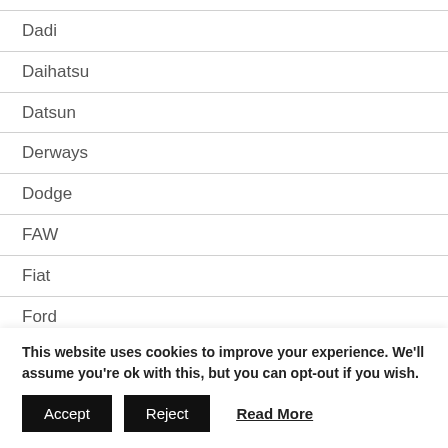Dadi
Daihatsu
Datsun
Derways
Dodge
FAW
Fiat
Ford
Genesis
GMC
This website uses cookies to improve your experience. We'll assume you're ok with this, but you can opt-out if you wish.
Accept | Reject | Read More